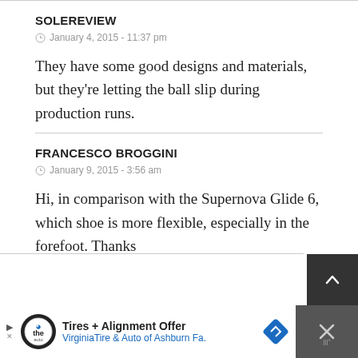SOLEREVIEW
January 4, 2015 - 11:37 pm
They have some good designs and materials, but they're letting the ball slip during production runs.
FRANCESCO BROGGINI
January 9, 2015 - 3:56 am
Hi, in comparison with the Supernova Glide 6, which shoe is more flexible, especially in the forefoot. Thanks
[Figure (screenshot): Advertisement bar at the bottom: Tires + Alignment Offer - VirginiaTire & Auto of Ashburn Fa.]